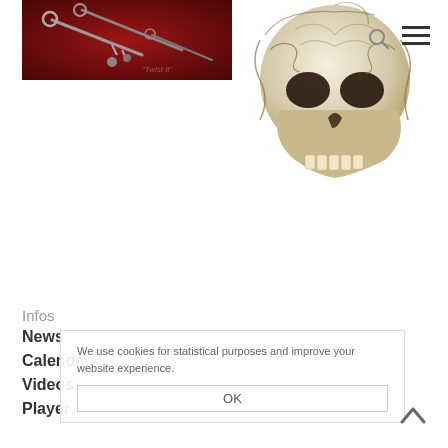[Figure (photo): Dark red background with antique keys and metal objects arranged on fabric]
[Figure (photo): Cream/bone colored decorative skull with Celtic knotwork tattoo-style engravings]
Infos
News
Calendar
Videos
Player
We use cookies for statistical purposes and improve your website experience.
OK